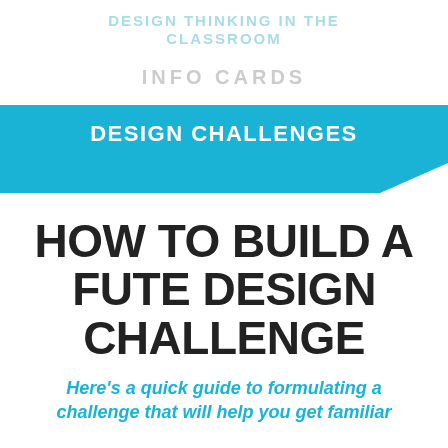DESIGN THINKING IN THE CLASSROOM
INFO CARDS
DESIGN CHALLENGES
HOW TO BUILD A FUTE DESIGN CHALLENGE
Here's a quick guide to formulating a challenge that will help you get familiar